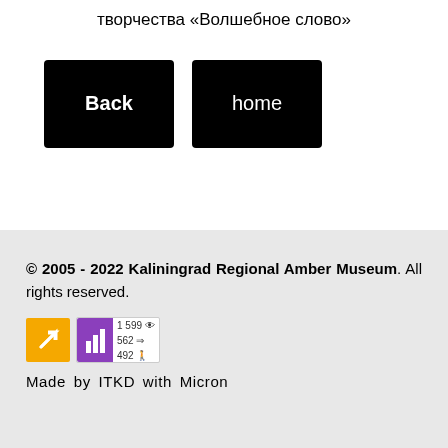творчества «Волшебное слово»
Back  home
© 2005 - 2022 Kaliningrad Regional Amber Museum. All rights reserved.
[Figure (other): Orange badge with upward arrow icon and purple bar chart badge showing stats: 1599 views, 562 entries, 492 users]
Made by ITKD with Micron